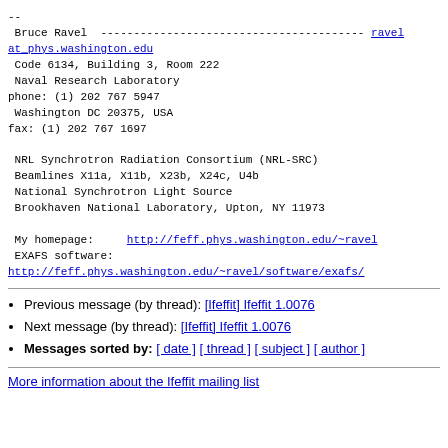--
 Bruce Ravel  ---------------------------------------- ravel at_phys.washington.edu
 Code 6134, Building 3, Room 222
 Naval Research Laboratory
phone: (1) 202 767 5947
 Washington DC 20375, USA
fax: (1) 202 767 1697

 NRL Synchrotron Radiation Consortium (NRL-SRC)
 Beamlines X11a, X11b, X23b, X24c, U4b
 National Synchrotron Light Source
 Brookhaven National Laboratory, Upton, NY 11973

 My homepage:     http://feff.phys.washington.edu/~ravel
 EXAFS software:
http://feff.phys.washington.edu/~ravel/software/exafs/
Previous message (by thread): [Ifeffit] Ifeffit 1.0076
Next message (by thread): [Ifeffit] Ifeffit 1.0076
Messages sorted by: [ date ] [ thread ] [ subject ] [ author ]
More information about the Ifeffit mailing list